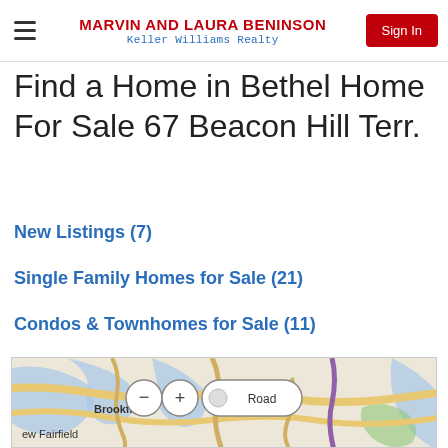MARVIN AND LAURA BENINSON Keller Williams Realty
Find a Home in Bethel Home For Sale 67 Beacon Hill Terr.
New Listings (7)
Single Family Homes for Sale (21)
Condos & Townhomes for Sale (11)
[Figure (map): Map showing Brookfield and New Fairfield area with road view controls (zoom in/out buttons and Road view toggle)]